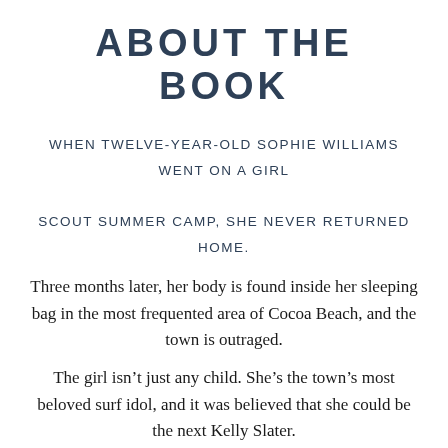ABOUT THE BOOK
WHEN TWELVE-YEAR-OLD SOPHIE WILLIAMS WENT ON A GIRL SCOUT SUMMER CAMP, SHE NEVER RETURNED HOME.
Three months later, her body is found inside her sleeping bag in the most frequented area of Cocoa Beach, and the town is outraged.
The girl isn't just any child. She's the town's most beloved surf idol, and it was believed that she could be the next Kelly Slater.
As another child, the son of a well-known senator is kidnapped, and the parents receive a disturbing video, FBI profiler Eva Rae Thomas — who has just returned